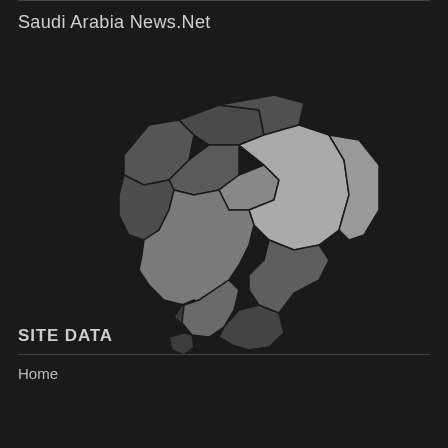Saudi Arabia News.Net
[Figure (map): Grayscale choropleth map of Saudi Arabia showing its regions in varying shades of gray and dark gray on a dark background.]
SITE DATA
Home